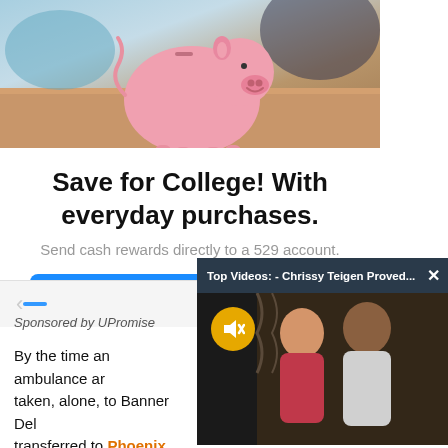[Figure (photo): Pink piggy bank on a wooden table with blurred background — advertisement image for UPromise college savings]
Save for College! With everyday purchases.
Send cash rewards directly to a 529 account.
LEARN MORE
Sponsored by UPromise
[Figure (screenshot): Video popup overlay titled 'Top Videos: - Chrissy Teigen Proved...' with a thumbnail showing a couple, and a yellow mute button]
By the time an ambulance ar taken, alone, to Banner Del transferred to Phoenix Chil